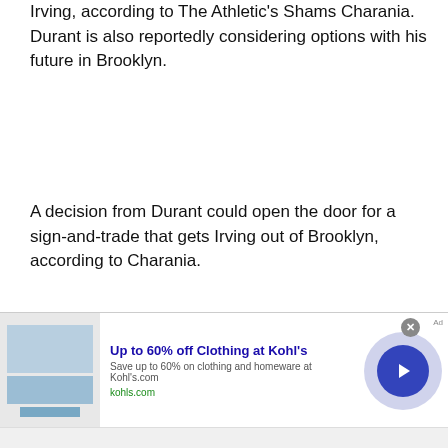Irving, according to The Athletic's Shams Charania. Durant is also reportedly considering options with his future in Brooklyn.
A decision from Durant could open the door for a sign-and-trade that gets Irving out of Brooklyn, according to Charania.
[Figure (other): Advertisement banner for Kohl's: 'Up to 60% off Clothing at Kohl's' with image of savings display, link kohls.com, close button, and navigation arrow]